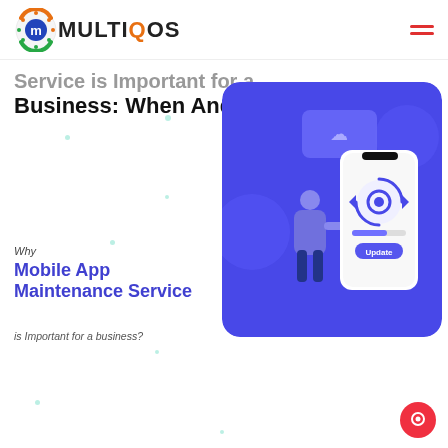MultiQOS
Service is Important for a Business: When And How
Why
Mobile App Maintenance Service
is Important for a business?
[Figure (illustration): Blue rounded rectangle illustration showing a person standing next to a large smartphone with a gear/update icon, representing mobile app maintenance service. The phone shows an update progress bar and an 'Update' button.]